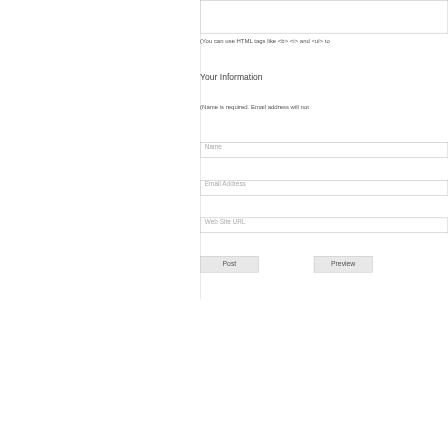[Figure (screenshot): Textarea input box (comment field), partially visible at top]
(You can use HTML tags like <b> <i> and <ul> to
Your Information
(Name is required. Email address will not
Name
Email Address
Web Site URL
Post
Preview